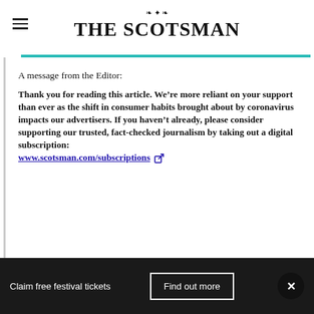[Figure (logo): The Scotsman newspaper logo with decorative emblem and bold serif text]
A message from the Editor:
Thank you for reading this article. We’re more reliant on your support than ever as the shift in consumer habits brought about by coronavirus impacts our advertisers. If you haven’t already, please consider supporting our trusted, fact-checked journalism by taking out a digital subscription: www.scotsman.com/subscriptions
Claim free festival tickets   Find out more